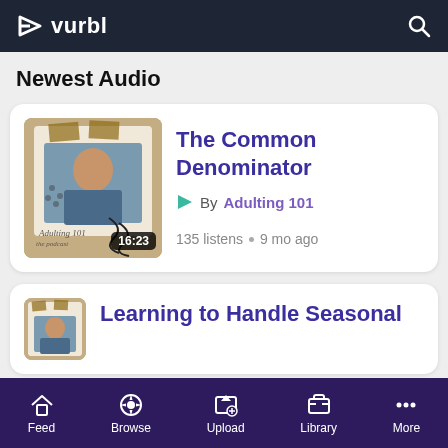vurbl
Newest Audio
[Figure (screenshot): Podcast thumbnail for 'The Common Denominator' by Adulting 101 showing a person taking a selfie, with duration badge 16:23]
The Common Denominator
By Adulting 101
135 listens • 9 mo ago
[Figure (photo): Partial podcast thumbnail for second card (Learning to Handle Seasonal)]
Learning to Handle Seasonal
Feed  Browse  Upload  Library  More